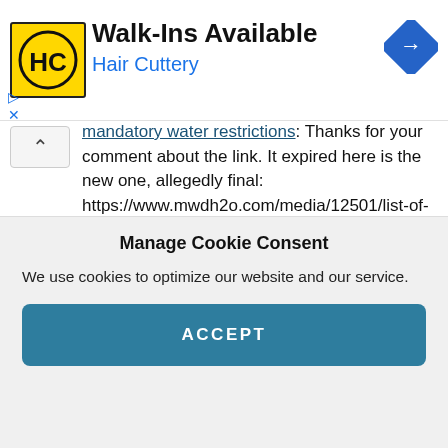[Figure (logo): Hair Cuttery advertisement banner with yellow HC logo, 'Walk-Ins Available' headline, and blue navigation icon]
mandatory water restrictions: Thanks for your comment about the link. It expired here is the new one, allegedly final: https://www.mwdh2o.com/media/12501/list-of-dependent-cities-communities-final.pdf"
Jul 6, 11:43
Debra on California residents face mandatory water restrictions: “Your “list of affected cities” goes nowhere. Completely missing.”
Manage Cookie Consent
We use cookies to optimize our website and our service.
ACCEPT